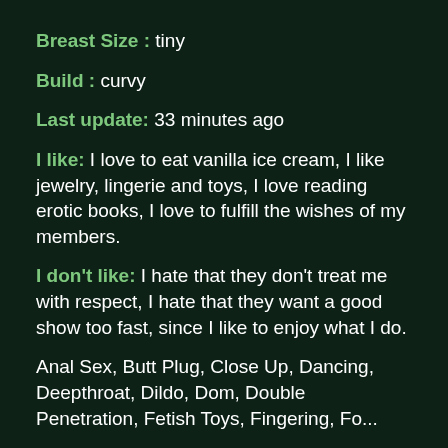Breast Size : tiny
Build : curvy
Last update: 33 minutes ago
I like: I love to eat vanilla ice cream, I like jewelry, lingerie and toys, I love reading erotic books, I love to fulfill the wishes of my members.
I don't like: I hate that they don't treat me with respect, I hate that they want a good show too fast, since I like to enjoy what I do.
Anal Sex, Butt Plug, Close Up, Dancing, Deepthroat, Dildo, Dom, Double Penetration, Fetish Toys, Fingering, Fo...